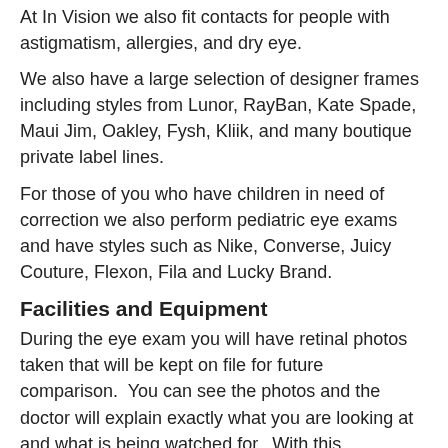At In Vision we also fit contacts for people with astigmatism, allergies, and dry eye.
We also have a large selection of designer frames including styles from Lunor, RayBan, Kate Spade, Maui Jim, Oakley, Fysh, Kliik, and many boutique private label lines.
For those of you who have children in need of correction we also perform pediatric eye exams and have styles such as Nike, Converse, Juicy Couture, Flexon, Fila and Lucky Brand.
Facilities and Equipment
During the eye exam you will have retinal photos taken that will be kept on file for future comparison.  You can see the photos and the doctor will explain exactly what you are looking at and what is being watched for.  With this technology it may be possible to detect medical problems such as glaucoma, macular degeneration, diabetes, high blood pressure, and others.
After your exam if you decide to order glasses with us we will use our VisiOffice to take precise measurements of your frame and pupillary distance.  These measurements are precise to 0.01mm, allowing for unbelievably precise vision.  You can also see various lens options and how they affect your vision (including anti-reflective coating,